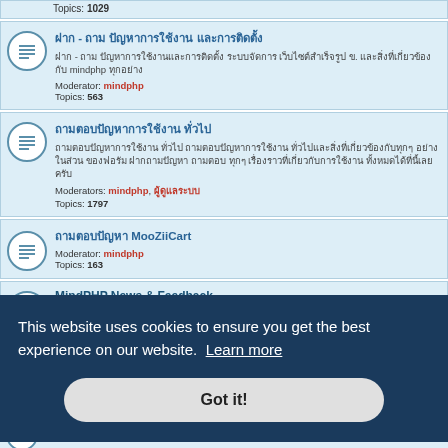Topics: 1029
ฝาก - ถาม ปัญหาการใช้งาน และการติดตั้ง
ฝาก - ถาม ปัญหาการใช้งานและการติดตั้ง ระบบจัดการ เว็บไซต์สำเร็จรูป ข. และสิ่งที่เกี่ยวข้องกับ mindphp ทุกอย่าง
Moderator: mindphp
Topics: 563
ถามตอบปัญหาการใช้งาน ทั่วไป
ถามตอบปัญหาการใช้งาน ทั่วไป ถามตอบปัญหาการใช้งาน ทั่วไปและสิ่งที่เกี่ยวข้องกับทุกๆ อย่างในส่วน ของฟอรัม ฝากถามปัญหา ถามตอบ ทุกๆ เรื่องราวที่เกี่ยวกับการใช้งาน ทั้งหมดได้ที่นี้เลยครับ
Moderators: mindphp, ผู้ดูแลระบบ
Topics: 1797
ถามตอบปัญหา MooZiiCart
Moderator: mindphp
Topics: 163
MindPHP News & Feedback
MindPHP News อัพเดทข่าวสาร บทความ เทคโนโลยี ความรู้ สิ่งใหม่ๆ เกี่ยวกับ IT ที่น่าสนใจ ความเคลื่อนไหวต่างๆ ของทาง Mindphp.com และสิ่งที่เกี่ยวข้อง
Moderators: mindphp, ผู้ดูแลระบบ
This website uses cookies to ensure you get the best experience on our website. Learn more
Got it!
Topics: 69